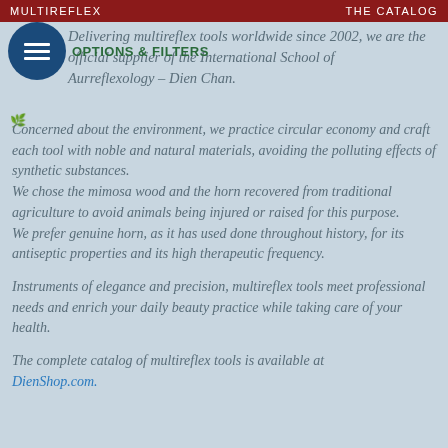MULTIREFLEX    THE CATALOG
Delivering multireflex tools worldwide since 2002, we are the official supplier of the International School of Aurreflexology – Dien Chan.
OPTIONS & FILTERS
Concerned about the environment, we practice circular economy and craft each tool with noble and natural materials, avoiding the polluting effects of synthetic substances.
We chose the mimosa wood and the horn recovered from traditional agriculture to avoid animals being injured or raised for this purpose.
We prefer genuine horn, as it has used done throughout history, for its antiseptic properties and its high therapeutic frequency.
Instruments of elegance and precision, multireflex tools meet professional needs and enrich your daily beauty practice while taking care of your health.
The complete catalog of multireflex tools is available at DienShop.com.